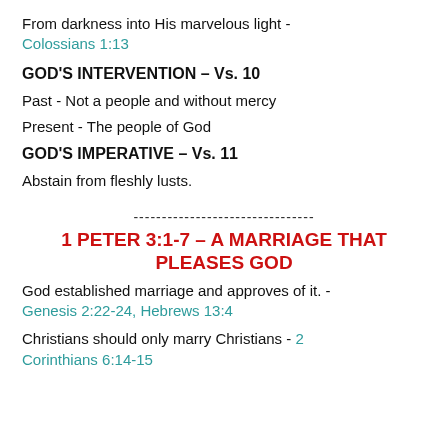From darkness into His marvelous light - Colossians 1:13
GOD'S INTERVENTION – Vs. 10
Past - Not a people and without mercy
Present - The people of God
GOD'S IMPERATIVE – Vs. 11
Abstain from fleshly lusts.
--------------------------------
1 PETER 3:1-7 – A MARRIAGE THAT PLEASES GOD
God established marriage and approves of it. - Genesis 2:22-24, Hebrews 13:4
Christians should only marry Christians - 2 Corinthians 6:14-15